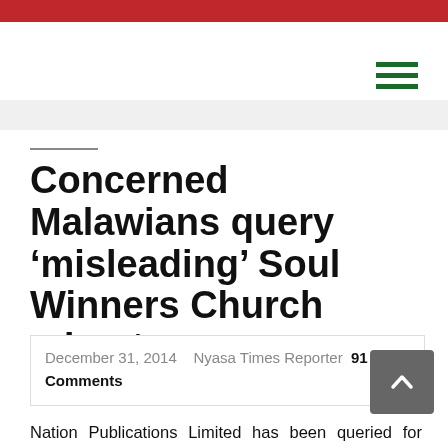Concerned Malawians query ‘misleading’ Soul Winners Church advert
December 31, 2014  Nyasa Times Reporter  91 Comments
Nation Publications Limited has been queried for publishing adverts whose contents some readers believe are at times false and grossly misleading to the public.